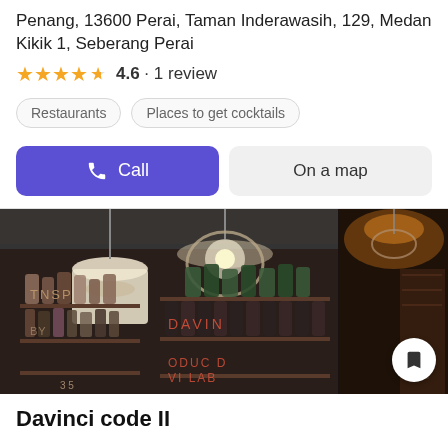Penang, 13600 Perai, Taman Inderawasih, 129, Medan Kikik 1, Seberang Perai
4.6 · 1 review
Restaurants
Places to get cocktails
Call
On a map
[Figure (photo): Interior bar photos showing shelves with bottles, pendant lights, and dim ambiance. Two panels side by side.]
Davinci code II